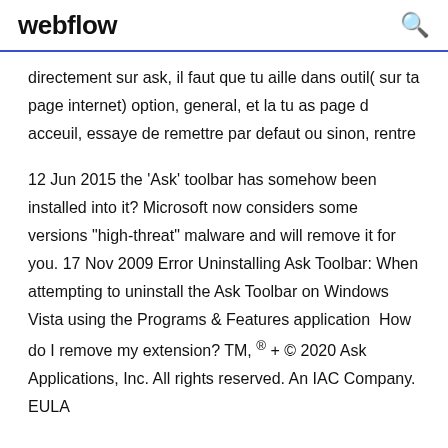webflow
directement sur ask, il faut que tu aille dans outil( sur ta page internet) option, general, et la tu as page d acceuil, essaye de remettre par defaut ou sinon, rentre
12 Jun 2015 the 'Ask' toolbar has somehow been installed into it? Microsoft now considers some versions "high-threat" malware and will remove it for you. 17 Nov 2009 Error Uninstalling Ask Toolbar: When attempting to uninstall the Ask Toolbar on Windows Vista using the Programs & Features application  How do I remove my extension? TM, ® + © 2020 Ask Applications, Inc. All rights reserved. An IAC Company. EULA